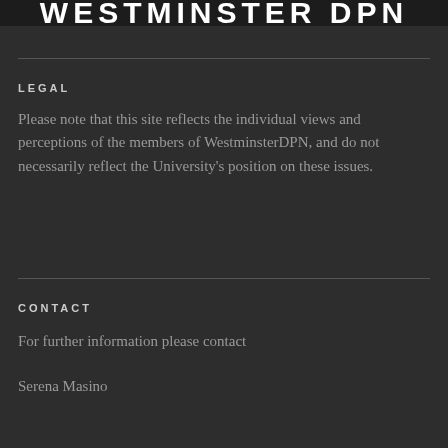WESTMINSTER DPN
LEGAL
Please note that this site reflects the individual views and perceptions of the members of WestminsterDPN, and do not necessarily reflect the University's position on these issues.
CONTACT
For further information please contact
Serena Masino